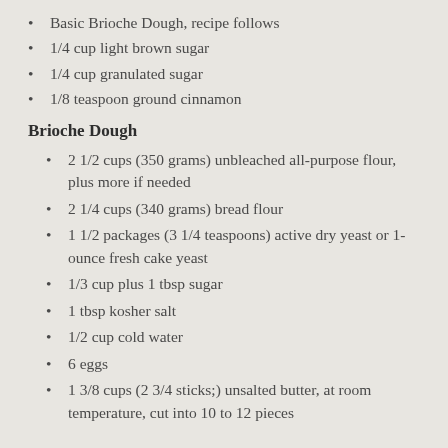Basic Brioche Dough, recipe follows
1/4 cup light brown sugar
1/4 cup granulated sugar
1/8 teaspoon ground cinnamon
Brioche Dough
2 1/2 cups (350 grams) unbleached all-purpose flour, plus more if needed
2 1/4 cups (340 grams) bread flour
1 1/2 packages (3 1/4 teaspoons) active dry yeast or 1-ounce fresh cake yeast
1/3 cup plus 1 tbsp sugar
1 tbsp kosher salt
1/2 cup cold water
6 eggs
1 3/8 cups (2 3/4 sticks;) unsalted butter, at room temperature, cut into 10 to 12 pieces